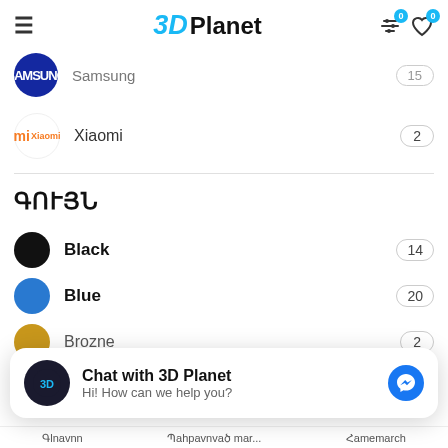3D Planet — header with hamburger menu, logo, and icons
Samsung — 15
Xiaomi — 2
ԳՈՒՅՆ
Black — 14
Blue — 20
Brozne — 2
Gold — 21
Chat with 3D Planet — Hi! How can we help you?
Գlnavnn  Պahpavnvaծ mar...  Հamemarch